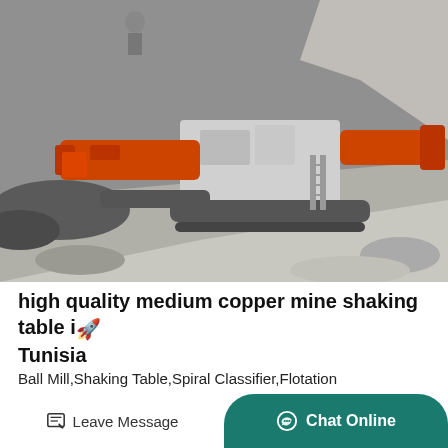[Figure (photo): A large orange and grey industrial mining crushing machine on rocky terrain, photographed in grayscale/muted tones with a worker visible in the upper left.]
high quality medium copper mine shaking table in Tunisia 🚀
Ball Mill,Shaking Table,Spiral Classifier,Flotation
Machine,Magnetic Separator. Total R... US$2.5 Milli...